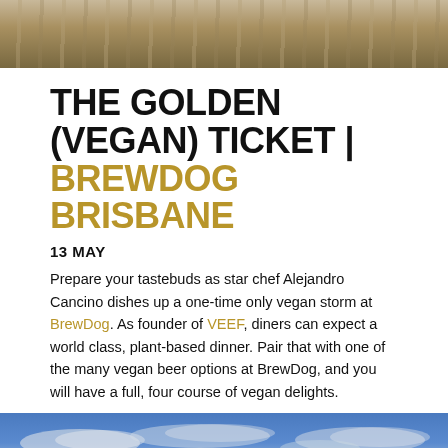[Figure (photo): Top portion of image showing wooden planks/table surface with green grass visible in background]
THE GOLDEN (VEGAN) TICKET | BREWDOG BRISBANE
13 MAY
Prepare your tastebuds as star chef Alejandro Cancino dishes up a one-time only vegan storm at BrewDog. As founder of VEEF, diners can expect a world class, plant-based dinner. Pair that with one of the many vegan beer options at BrewDog, and you will have a full, four course of vegan delights.
[Figure (photo): Bottom photo showing blue sky with clouds and dark silhouette at bottom]